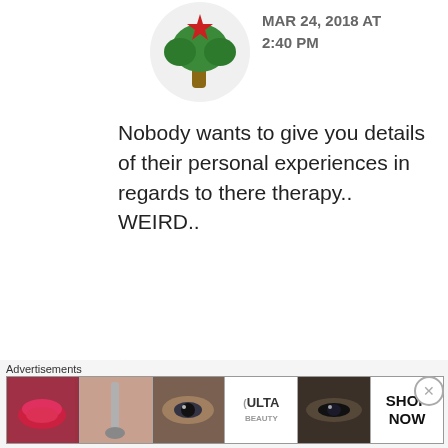[Figure (illustration): Cartoon avatar: stylized tree with red star/flower on top and green/brown trunk, circular white background, partially cropped at top]
MAR 24, 2018 AT 2:40 PM
Nobody wants to give you details of their personal experiences in regards to there therapy.. WEIRD..
★ Liked by 1 person
[Figure (illustration): Cartoon bitmoji avatar of a blonde woman with makeup, hair in ponytail, smiling]
Elle Beau
MAR 25, 2018 AT 12:52 AM
Advertisements
[Figure (photo): Advertisement banner for ULTA beauty with makeup imagery including lips, brush, eyes, ULTA logo, and SHOP NOW text]